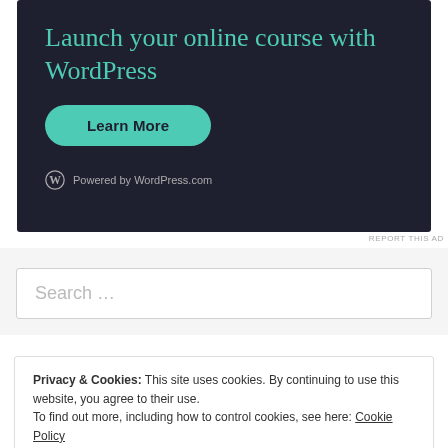[Figure (screenshot): WordPress.com advertisement banner with dark navy background showing 'Launch your online course with WordPress' headline in teal, a teal 'Learn More' button, and WordPress logo with 'Powered by WordPress.com' text]
REPORT THIS AD
Search …
Privacy & Cookies: This site uses cookies. By continuing to use this website, you agree to their use. To find out more, including how to control cookies, see here: Cookie Policy
Close and accept